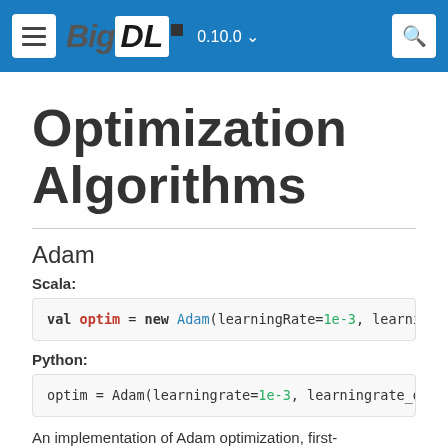BigDL 0.10.0
Optimization Algorithms
Adam
Scala:
val optim = new Adam(learningRate=1e-3, learnin
Python:
optim = Adam(learningrate=1e-3, learningrate_de
An implementation of Adam optimization, first-